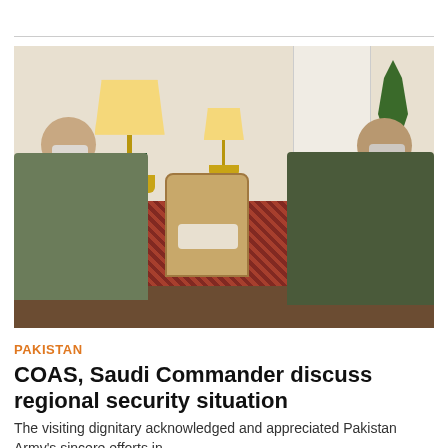[Figure (photo): Two military officers wearing face masks seated in an ornate room with lamps, a wicker chair, and a Pakistan flag. The officer on the left wears camouflage uniform; the officer on the right wears an olive/green uniform with medals.]
PAKISTAN
COAS, Saudi Commander discuss regional security situation
The visiting dignitary acknowledged and appreciated Pakistan Army's sincere efforts in...